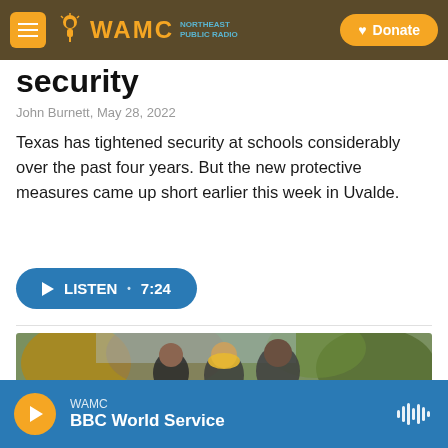WAMC NORTHEAST PUBLIC RADIO — Donate
security
John Burnett,  May 28, 2022
Texas has tightened security at schools considerably over the past four years. But the new protective measures came up short earlier this week in Uvalde.
LISTEN • 7:24
[Figure (photo): Three young people standing outdoors in a wooded autumn setting]
WAMC — BBC World Service